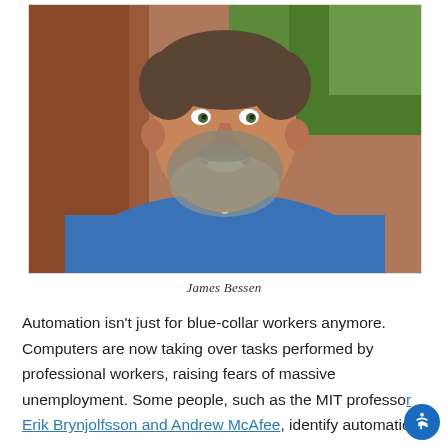[Figure (photo): Portrait photograph of James Bessen, a middle-aged man with a beard wearing a blue shirt, smiling, with a blurred background]
James Bessen
Automation isn't just for blue-collar workers anymore. Computers are now taking over tasks performed by professional workers, raising fears of massive unemployment. Some people, such as the MIT professor Erik Brynjolfsson and Andrew McAfee, identify automation